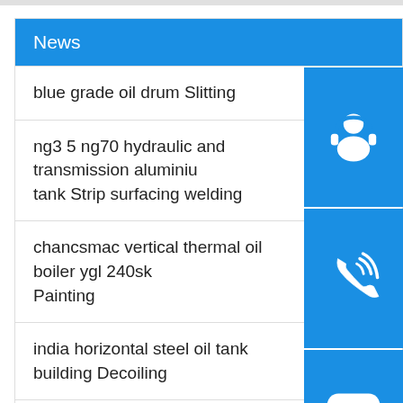News
blue grade oil drum Slitting
ng3 5 ng70 hydraulic and transmission aluminium tank Strip surfacing welding
chancsmac vertical thermal oil boiler ygl 240sk Painting
india horizontal steel oil tank building Decoiling
ss milk churn 100l milk pail with discharge valve polishing
100m3 horizontal underground lpg storage tank polishing